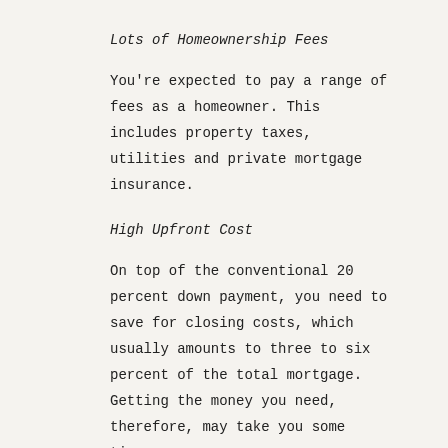Lots of Homeownership Fees
You're expected to pay a range of fees as a homeowner. This includes property taxes, utilities and private mortgage insurance.
High Upfront Cost
On top of the conventional 20 percent down payment, you need to save for closing costs, which usually amounts to three to six percent of the total mortgage. Getting the money you need, therefore, may take you some time.
The Benefits of Starting a Business